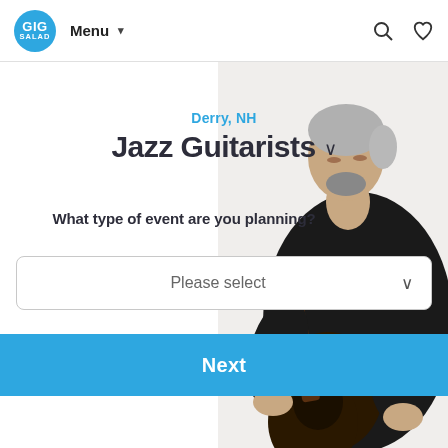GIG SALAD — Menu — Search — Favorites
Derry, NH
Jazz Guitarists
What type of event are you planning?
Please select
Next
[Figure (photo): An older man with gray hair wearing a black jacket, playing a jazz guitar, shown from the right side of the image.]